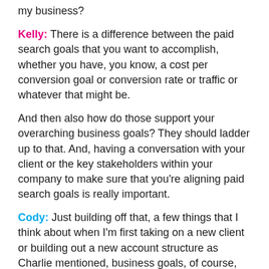my business?
Kelly: There is a difference between the paid search goals that you want to accomplish, whether you have, you know, a cost per conversion goal or conversion rate or traffic or whatever that might be.
And then also how do those support your overarching business goals? They should ladder up to that. And, having a conversation with your client or the key stakeholders within your company to make sure that you're aligning paid search goals is really important.
Cody: Just building off that, a few things that I think about when I'm first taking on a new client or building out a new account structure as Charlie mentioned, business goals, of course, needs to be top of mind. You know, we need to know what our client cares about most.
The second thing I think about is the business verticals that your client may be in. Do they serve more than one vertical? If so this will play a major role in segmented campaign strategies down the road.